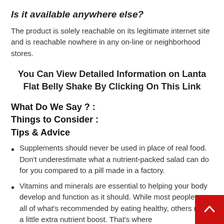Is it available anywhere else?
The product is solely reachable on its legitimate internet site and is reachable nowhere in any on-line or neighborhood stores.
You Can View Detailed Information on Lanta Flat Belly Shake By Clicking On This Link
What Do We Say ? :
Things to Consider :
Tips & Advice
Supplements should never be used in place of real food. Don't underestimate what a nutrient-packed salad can do for you compared to a pill made in a factory.
Vitamins and minerals are essential to helping your body develop and function as it should. While most people get all of what's recommended by eating healthy, others need a little extra nutrient boost. That's where